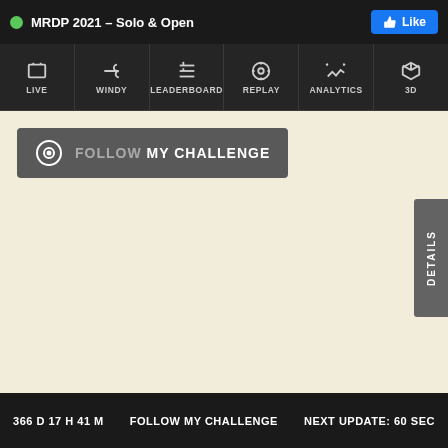MRDP 2021 – Solo & Open
[Figure (screenshot): Navigation bar with icons: LIVE, WINDY, LEADERBOARD, REPLAY, ANALYTICS, 3D]
[Figure (screenshot): FOLLOW MY CHALLENGE button with pin icon on beige background]
[Figure (other): DETAILS vertical tab on right side]
366 D 17 H 41 M   FOLLOW MY CHALLENGE   NEXT UPDATE: 60 SEC